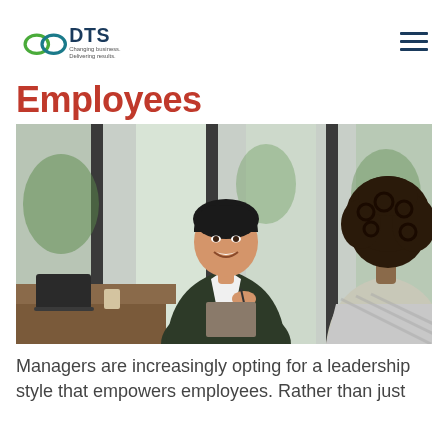DTS — Changing business. Delivering results.
Employees
[Figure (photo): Two women in a professional setting, one smiling and holding a pen and binder, engaging in a conversation, with large windows in the background.]
Managers are increasingly opting for a leadership style that empowers employees. Rather than just